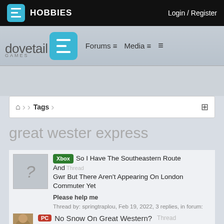JG HOBBIES — Login / Register
[Figure (screenshot): Dovetail Games JG forum navigation bar with Forums, Media, and hamburger menu links]
Tags
great wester express
Xbox So I Have The Southeastern Route And Thread Gwr But There Aren't Appearing On London Commuter Yet
Please help me
Thread by: springtraplou, Feb 19, 2022, 3 replies, in forum: Technical Reports
PC No Snow On Great Western? Thread
When in timetable mode I find that, whatever month I choose, I